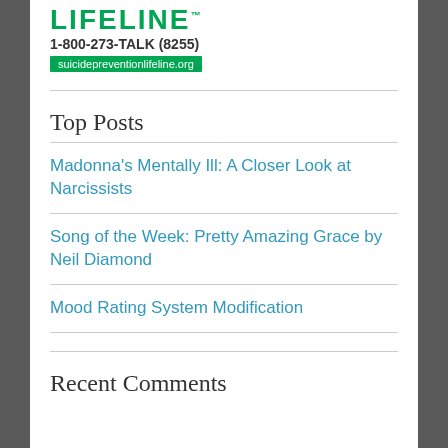[Figure (logo): National Suicide Prevention Lifeline logo with text LIFELINE, phone number 1-800-273-TALK (8255), and website suicidepreventionlifeline.org on green background]
Top Posts
Madonna's Mentally Ill: A Closer Look at Narcissists
Song of the Week: Pretty Amazing Grace by Neil Diamond
Mood Rating System Modification
Recent Comments